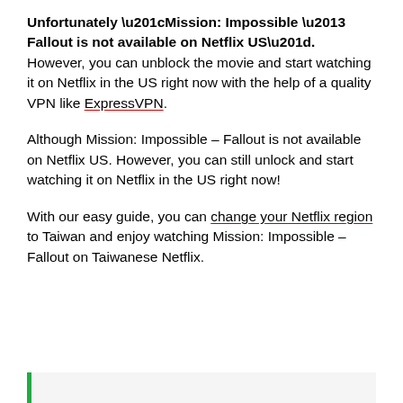Unfortunately “Mission: Impossible – Fallout is not available on Netflix US”. However, you can unblock the movie and start watching it on Netflix in the US right now with the help of a quality VPN like ExpressVPN.
Although Mission: Impossible – Fallout is not available on Netflix US. However, you can still unlock and start watching it on Netflix in the US right now!
With our easy guide, you can change your Netflix region to Taiwan and enjoy watching Mission: Impossible – Fallout on Taiwanese Netflix.